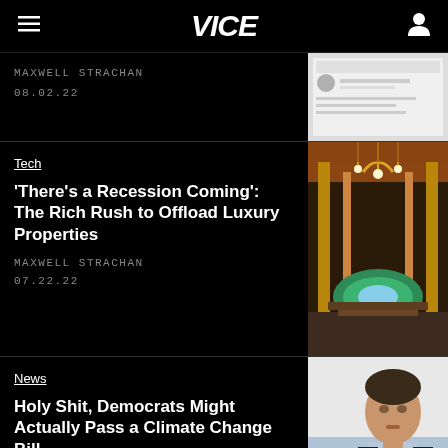VICE
MAXWELL STRACHAN
08.02.22
Tech
‘There’s a Recession Coming’: The Rich Rush to Offload Luxury Properties
MAXWELL STRACHAN
07.22.22
News
Holy Shit, Democrats Might Actually Pass a Climate Change Bill
GREG WALTERS